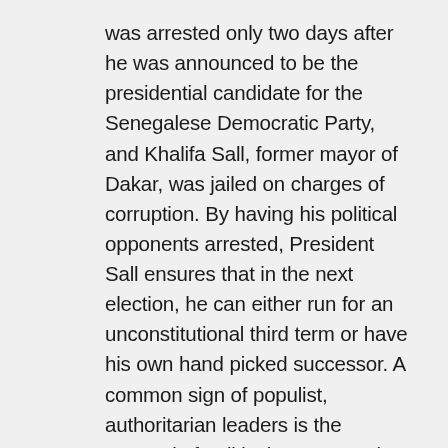was arrested only two days after he was announced to be the presidential candidate for the Senegalese Democratic Party, and Khalifa Sall, former mayor of Dakar, was jailed on charges of corruption. By having his political opponents arrested, President Sall ensures that in the next election, he can either run for an unconstitutional third term or have his own hand picked successor. A common sign of populist, authoritarian leaders is the removal of political opponents by either delegitimizing or getting rid of them. Having a populist leader causes democratic countries to erode due to actions of the populist leader such as changing the constitution or removing democratic norms. President Sall has proven through his actions that he is a